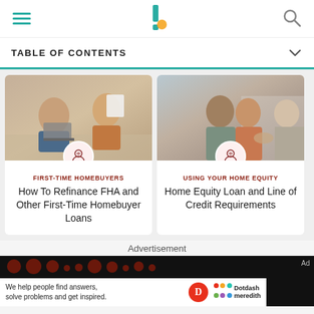Investopedia
TABLE OF CONTENTS
[Figure (photo): Couple sitting on couch reviewing documents with laptop]
FIRST-TIME HOMEBUYERS
How To Refinance FHA and Other First-Time Homebuyer Loans
[Figure (photo): Smiling couple meeting with a financial advisor]
USING YOUR HOME EQUITY
Home Equity Loan and Line of Credit Requirements
Advertisement
[Figure (other): Dotdash Meredith advertisement banner: 'We help people find answers, solve problems and get inspired.']